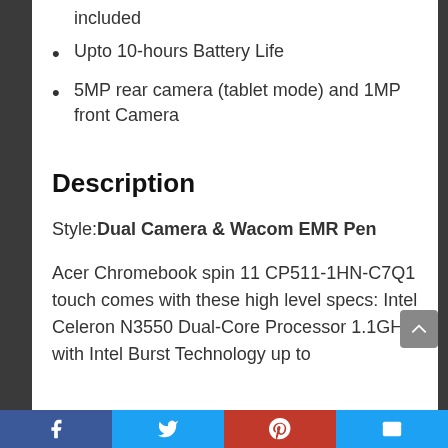included
Upto 10-hours Battery Life
5MP rear camera (tablet mode) and 1MP front Camera
Description
Style: Dual Camera & Wacom EMR Pen
Acer Chromebook spin 11 CP511-1HN-C7Q1 touch comes with these high level specs: Intel Celeron N3550 Dual-Core Processor 1.1GHz with Intel Burst Technology up to
Social share bar: Facebook, Twitter, Pinterest, Email